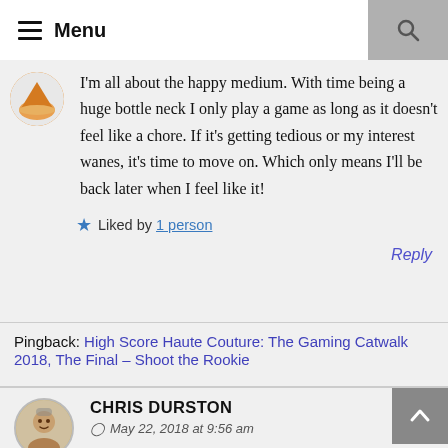≡ Menu
I'm all about the happy medium. With time being a huge bottle neck I only play a game as long as it doesn't feel like a chore. If it's getting tedious or my interest wanes, it's time to move on. Which only means I'll be back later when I feel like it!
★ Liked by 1 person
Reply
Pingback: High Score Haute Couture: The Gaming Catwalk 2018, The Final – Shoot the Rookie
CHRIS DURSTON
May 22, 2018 at 9:56 am